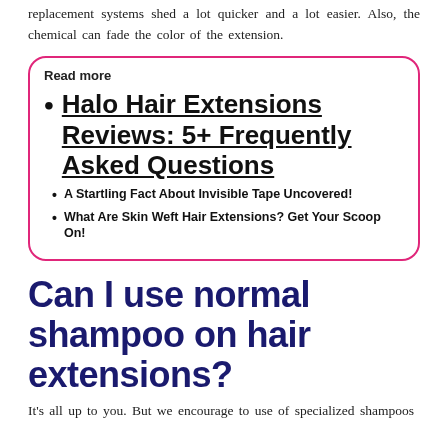replacement systems shed a lot quicker and a lot easier. Also, the chemical can fade the color of the extension.
Read more
Halo Hair Extensions Reviews: 5+ Frequently Asked Questions
A Startling Fact About Invisible Tape Uncovered!
What Are Skin Weft Hair Extensions? Get Your Scoop On!
Can I use normal shampoo on hair extensions?
It's all up to you. But we encourage to use of specialized shampoos